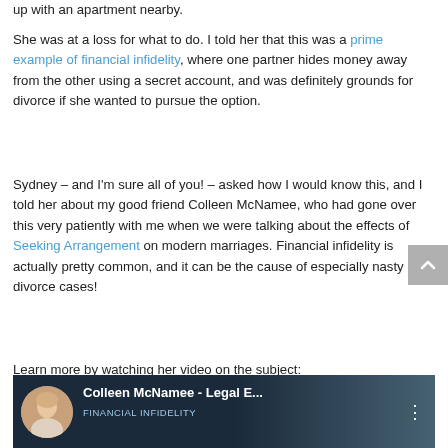up with an apartment nearby.
She was at a loss for what to do. I told her that this was a prime example of financial infidelity, where one partner hides money away from the other using a secret account, and was definitely grounds for divorce if she wanted to pursue the option.
Sydney – and I'm sure all of you! – asked how I would know this, and I told her about my good friend Colleen McNamee, who had gone over this very patiently with me when we were talking about the effects of Seeking Arrangement on modern marriages. Financial infidelity is actually pretty common, and it can be the cause of especially nasty divorce cases!
Learn more by watching her video on the subject:
[Figure (screenshot): Video thumbnail showing Colleen McNamee - Legal E... with FINANCIAL INFIDELITY subtitle, dark blue background with a woman's photo and circular avatar]